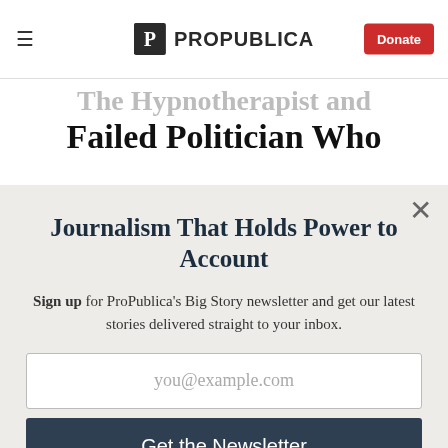ProPublica
The Hypnotherapist and the Failed Politician Who
Journalism That Holds Power to Account
Sign up for ProPublica's Big Story newsletter and get our latest stories delivered straight to your inbox.
you@example.com
Get the Newsletter
No thanks, I'm all set
This site is protected by reCAPTCHA and the Google Privacy Policy and Terms of Service apply.